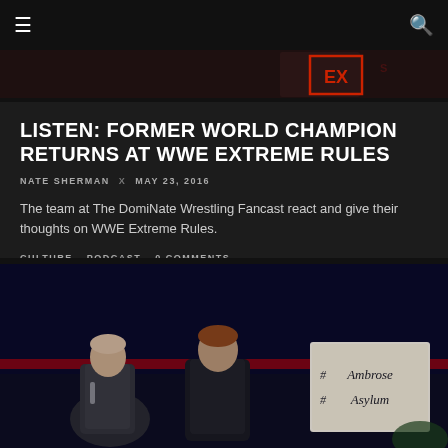Navigation bar with menu and search icons
[Figure (photo): WWE Extreme Rules banner/backdrop image with red EX logo visible]
LISTEN: FORMER WORLD CHAMPION RETURNS AT WWE EXTREME RULES
NATE SHERMAN x MAY 23, 2016
The team at The DomiNate Wrestling Fancast react and give their thoughts on WWE Extreme Rules.
CULTURE   PODCAST   0 COMMENTS
[Figure (photo): Two wrestlers on stage at WWE event; one in leather jacket, one in suit, with Ambrose Asylum sign visible in background]